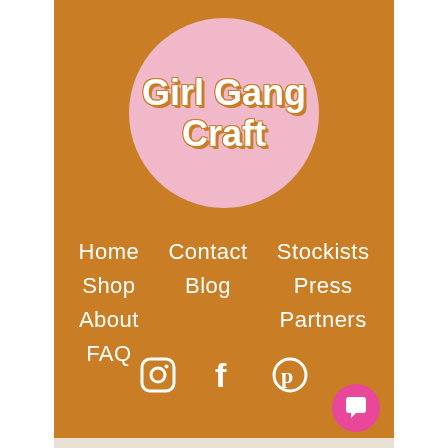[Figure (logo): Girl Gang Craft logo: white cursive text on a pink circle with orange background]
Home
Shop
About
FAQ
Contact
Blog
Stockists
Press
Partners
[Figure (illustration): Social media icons: Instagram, Facebook, Pinterest in white on orange background]
[Figure (illustration): Pink chat/message button in bottom right corner]